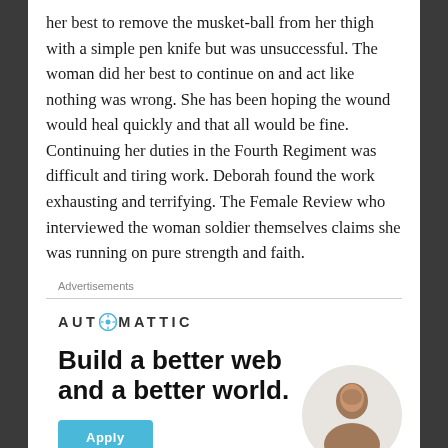her best to remove the musket-ball from her thigh with a simple pen knife but was unsuccessful. The woman did her best to continue on and act like nothing was wrong. She has been hoping the wound would heal quickly and that all would be fine. Continuing her duties in the Fourth Regiment was difficult and tiring work. Deborah found the work exhausting and terrifying. The Female Review who interviewed the woman soldier themselves claims she was running on pure strength and faith.
Advertisements
[Figure (logo): Automattic logo with stylized 'O' icon in teal/blue]
Build a better web and a better world.
[Figure (photo): Person sitting, partial image at bottom right of advertisement]
Apply